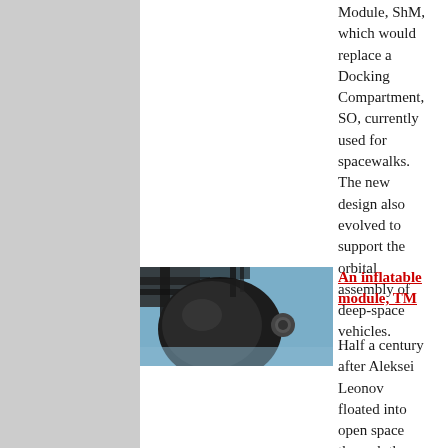Module, ShM, which would replace a Docking Compartment, SO, currently used for spacewalks. The new design also evolved to support the orbital assembly of deep-space vehicles.
[Figure (photo): Black and white photo of a spherical/egg-shaped inflatable module component against a blue sky background with solar panel structures visible]
An inflatable module, TM
Half a century after Aleksei Leonov floated into open space through the inflatable airlock, the company that